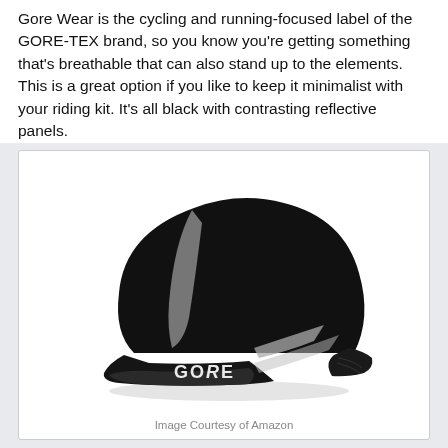Gore Wear is the cycling and running-focused label of the GORE-TEX brand, so you know you're getting something that's breathable that can also stand up to the elements. This is a great option if you like to keep it minimalist with your riding kit. It's all black with contrasting reflective panels.
[Figure (photo): A black Gore cycling cap with reflective panels and 'GORE' branding on the front brim, shown on a white background.]
Image Courtesy of Amazon